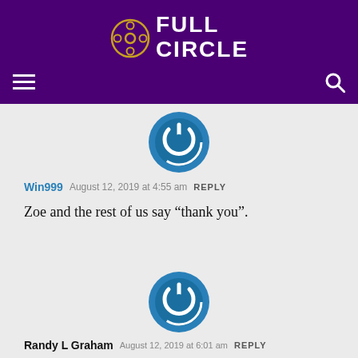FULL CIRCLE
[Figure (logo): Full Circle website logo with film reel icon on purple background]
[Figure (illustration): Blue power button icon avatar for user Win999]
Win999   August 12, 2019 at 4:55 am   REPLY
Zoe and the rest of us say “thank you”.
[Figure (illustration): Blue power button icon avatar for user Randy L Graham]
Randy L Graham   August 12, 2019 at 6:01 am   REPLY